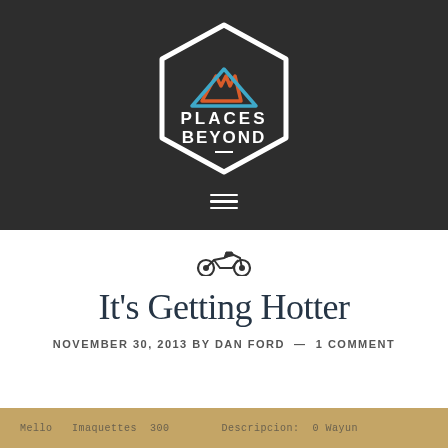[Figure (logo): Places Beyond hexagon logo with mountain icons in orange and blue, white text reading PLACES BEYOND on dark background]
It’s Getting Hotter
NOVEMBER 30, 2013 BY DAN FORD — 1 COMMENT
[Figure (photo): Partial view of a handwritten document or receipt with Spanish text visible]